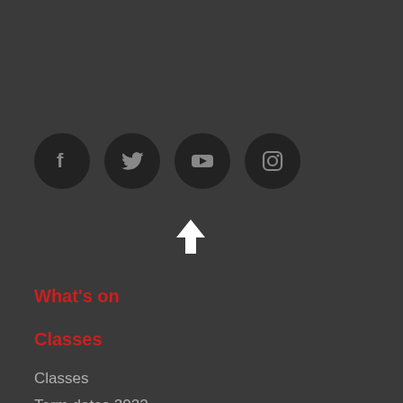[Figure (other): Four social media icon buttons (Facebook, Twitter, YouTube, Instagram) as dark circular icons on a dark background]
[Figure (other): White upward-pointing arrow icon for scroll to top]
What's on
Classes
Classes
Term dates 2022
Guide to enrolments and FAQ
Terms & Conditions of enrolment
Online Safety